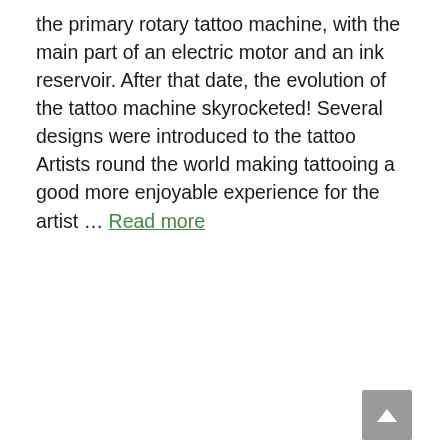the primary rotary tattoo machine, with the main part of an electric motor and an ink reservoir. After that date, the evolution of the tattoo machine skyrocketed! Several designs were introduced to the tattoo Artists round the world making tattooing a good more enjoyable experience for the artist … Read more
Search